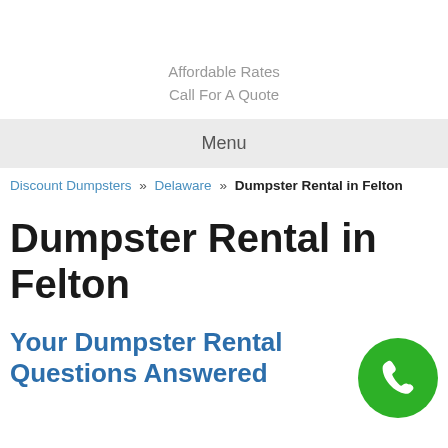Affordable Rates
Call For A Quote
Menu
Discount Dumpsters » Delaware » Dumpster Rental in Felton
Dumpster Rental in Felton
Your Dumpster Rental Questions Answered
[Figure (illustration): Green circular phone call button icon in bottom right corner]